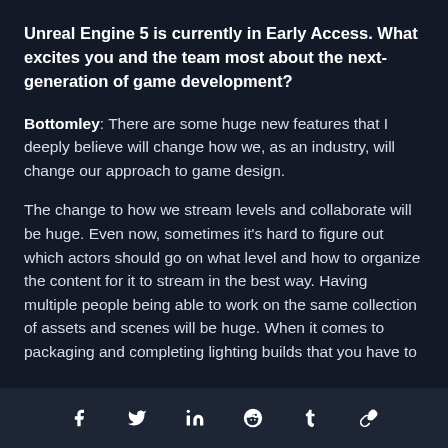Unreal Engine 5 is currently in Early Access. What excites you and the team most about the next-generation of game development?
Bottomley: There are some huge new features that I deeply believe will change how we, as an industry, will change our approach to game design.
The change to how we stream levels and collaborate will be huge. Even now, sometimes it's hard to figure out which actors should go on what level and how to organize the content for it to stream in the best way. Having multiple people being able to work on the same collection of assets and scenes will be huge. When it comes to packaging and completing lighting builds that you have to
f  y  in  reddit  t  link